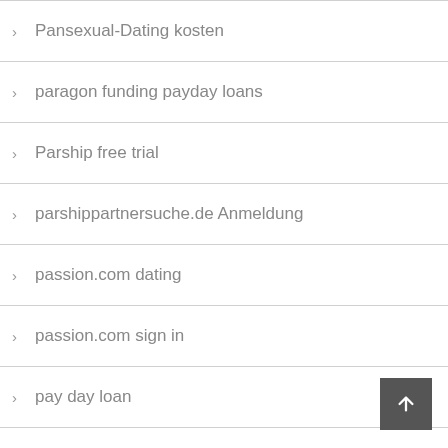Pansexual-Dating kosten
paragon funding payday loans
Parship free trial
parshippartnersuche.de Anmeldung
passion.com dating
passion.com sign in
pay day loan
pay day loan online
pay day loans